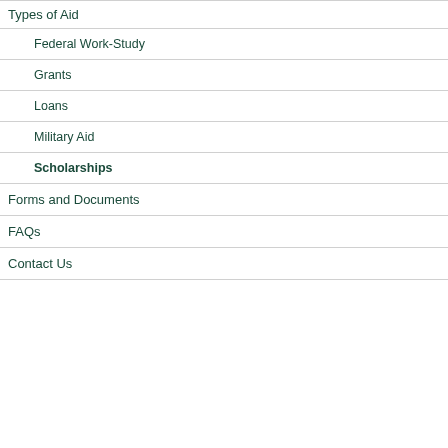Types of Aid
Federal Work-Study
Grants
Loans
Military Aid
Scholarships
Forms and Documents
FAQs
Contact Us